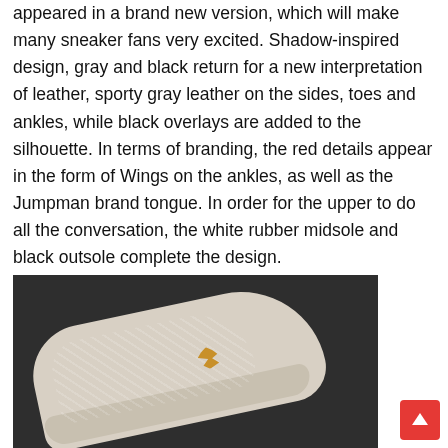appeared in a brand new version, which will make many sneaker fans very excited. Shadow-inspired design, gray and black return for a new interpretation of leather, sporty gray leather on the sides, toes and ankles, while black overlays are added to the silhouette. In terms of branding, the red details appear in the form of Wings on the ankles, as well as the Jumpman brand tongue. In order for the upper to do all the conversation, the white rubber midsole and black outsole complete the design.
[Figure (photo): Close-up photo of a sneaker on a dark background, showing woven/mesh upper texture and a gold Jumpman logo, with white midsole visible.]